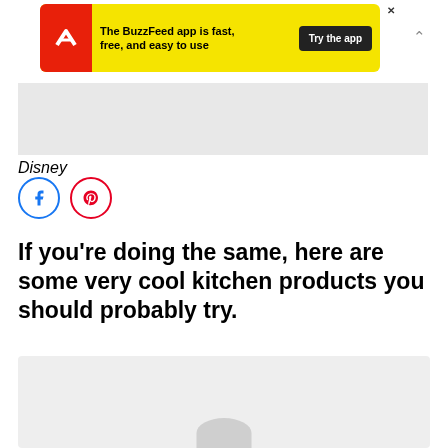[Figure (screenshot): BuzzFeed app advertisement banner with yellow background, red icon with white arrow, text 'The BuzzFeed app is fast, free, and easy to use', and black 'Try the app' button]
[Figure (photo): Gray placeholder image area attributed to Disney]
Disney
[Figure (infographic): Social sharing icons: Facebook (blue circle) and Pinterest (red circle)]
If you're doing the same, here are some very cool kitchen products you should probably try.
[Figure (screenshot): Bottom content area with 'Find more in the app!' pink button and small bug/spider illustration at bottom]
Find more in the app!